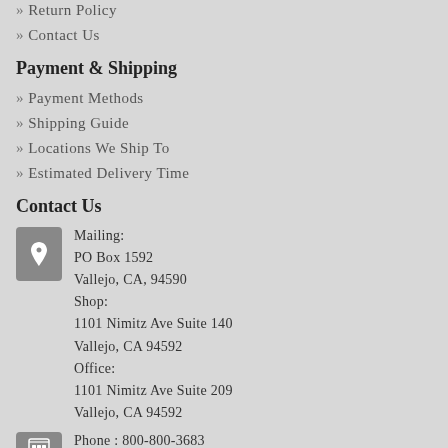» Return Policy
» Contact Us
Payment & Shipping
» Payment Methods
» Shipping Guide
» Locations We Ship To
» Estimated Delivery Time
Contact Us
Mailing:
PO Box 1592
Vallejo, CA, 94590
Shop:
1101 Nimitz Ave Suite 140
Vallejo, CA 94592
Office:
1101 Nimitz Ave Suite 209
Vallejo, CA 94592
Phone : 800-800-3683